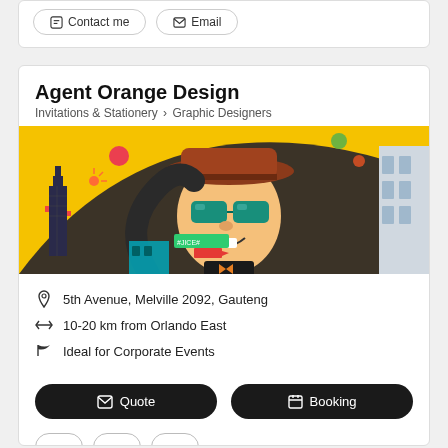Contact me | Email
Agent Orange Design
Invitations & Stationery › Graphic Designers
[Figure (photo): Colorful street art mural with a cartoon character wearing sunglasses and a hat, with a yellow background and various urban elements]
5th Avenue, Melville 2092, Gauteng
10-20 km from Orlando East
Ideal for Corporate Events
Quote | Booking